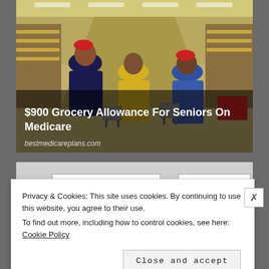[Figure (photo): Photo of elderly shoppers in a grocery store (Walmart-like), with shopping carts in aisles lined with products. Overlaid text reads '$900 Grocery Allowance For Seniors On Medicare' and 'bestmedicareplans.com'.]
$900 Grocery Allowance For Seniors On Medicare
bestmedicareplans.com
[Figure (photo): Partial photo of what appears to be a store shelf or display, partially obscured by cookie consent dialog.]
Privacy & Cookies: This site uses cookies. By continuing to use this website, you agree to their use.
To find out more, including how to control cookies, see here: Cookie Policy
Close and accept